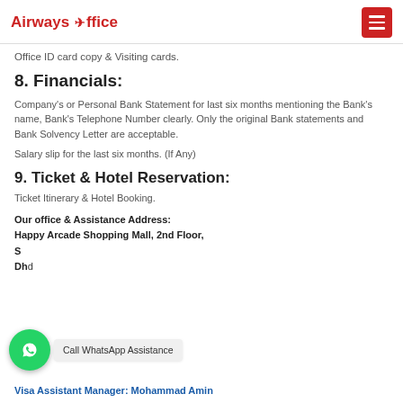Airways Office
Office ID card copy & Visiting cards.
8. Financials:
Company's or Personal Bank Statement for last six months mentioning the Bank's name, Bank's Telephone Number clearly. Only the original Bank statements and Bank Solvency Letter are acceptable.
Salary slip for the last six months. (If Any)
9. Ticket & Hotel Reservation:
Ticket Itinerary & Hotel Booking.
Our office & Assistance Address:
Happy Arcade Shopping Mall, 2nd Floor,
S...
Dh...d
Visa Assistant Manager: Mohammad Amin